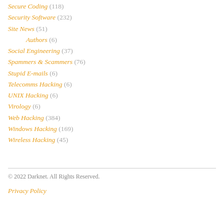Secure Coding (118)
Security Software (232)
Site News (51)
Authors (6)
Social Engineering (37)
Spammers & Scammers (76)
Stupid E-mails (6)
Telecomms Hacking (6)
UNIX Hacking (6)
Virology (6)
Web Hacking (384)
Windows Hacking (169)
Wireless Hacking (45)
© 2022 Darknet. All Rights Reserved.
Privacy Policy